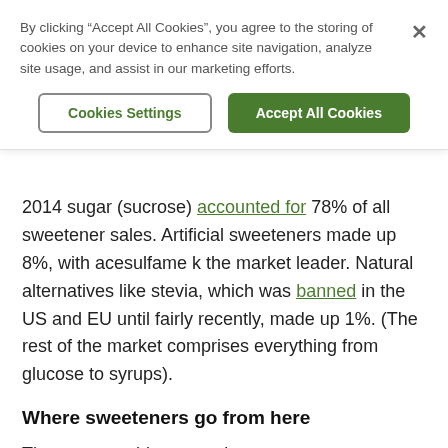By clicking “Accept All Cookies”, you agree to the storing of cookies on your device to enhance site navigation, analyze site usage, and assist in our marketing efforts.
Cookies Settings
Accept All Cookies
2014 sugar (sucrose) accounted for 78% of all sweetener sales. Artificial sweeteners made up 8%, with acesulfame k the market leader. Natural alternatives like stevia, which was banned in the US and EU until fairly recently, made up 1%. (The rest of the market comprises everything from glucose to syrups).
Where sweeteners go from here
The cancer evidence against non-sugar sweeteners